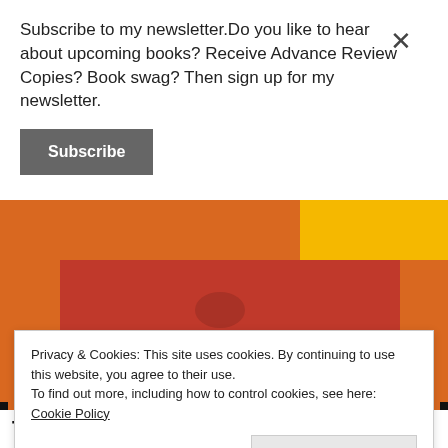Subscribe to my newsletter.Do you like to hear about upcoming books? Receive Advance Review Copies? Book swag? Then sign up for my newsletter.
Subscribe
[Figure (photo): Person wearing a red top with arms crossed, standing in front of an orange and yellow background. White text partially visible at bottom of image.]
Privacy & Cookies: This site uses cookies. By continuing to use this website, you agree to their use. To find out more, including how to control cookies, see here: Cookie Policy
Close and accept
TOP CLASS AT VIEW BOG